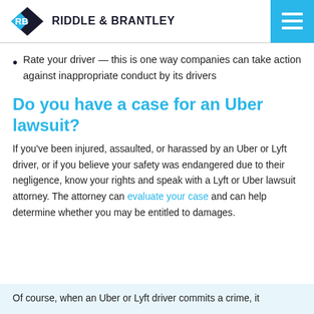Riddle & Brantley
Rate your driver — this is one way companies can take action against inappropriate conduct by its drivers
Do you have a case for an Uber lawsuit?
If you've been injured, assaulted, or harassed by an Uber or Lyft driver, or if you believe your safety was endangered due to their negligence, know your rights and speak with a Lyft or Uber lawsuit attorney. The attorney can evaluate your case and can help determine whether you may be entitled to damages.
Of course, when an Uber or Lyft driver commits a crime, it